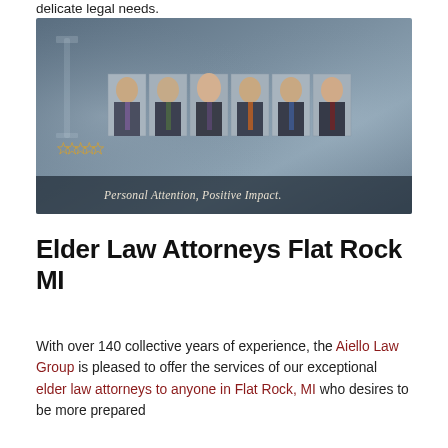delicate legal needs.
[Figure (photo): Group photo banner of six male attorneys in business suits against a dark blue-gray decorative background with laurel/justice motifs. Stars and tagline 'Personal Attention, Positive Impact.' overlaid at bottom.]
Elder Law Attorneys Flat Rock MI
With over 140 collective years of experience, the Aiello Law Group is pleased to offer the services of our exceptional elder law attorneys to anyone in Flat Rock, MI who desires to be more prepared